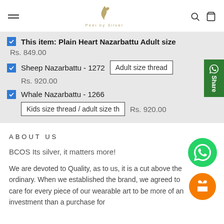Navigation header with hamburger menu, logo (Peel by Silver), search and cart icons
This item: Plain Heart Nazarbattu Adult size  Rs. 849.00
Sheep Nazarbattu - 1272  Adult size thread  Rs. 920.00
Whale Nazarbattu - 1266  Kids size thread / adult size th  Rs. 920.00
ABOUT US
BCOS Its silver, it matters more!
We are devoted to Quality, as to us, it is a cut above the ordinary. When we established the brand, we agreed to care for every piece of our wearable art to be more of an investment than a purchase for